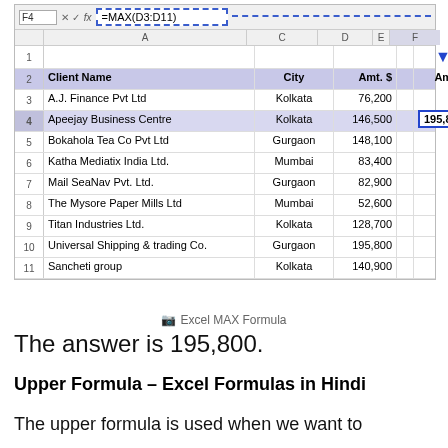[Figure (screenshot): Excel spreadsheet screenshot showing MAX formula =MAX(D3:D11) in formula bar, with a table of client names, cities, and amounts. The result 195,800 is shown in cell F4.]
Excel MAX Formula
The answer is 195,800.
Upper Formula – Excel Formulas in Hindi
The upper formula is used when we want to